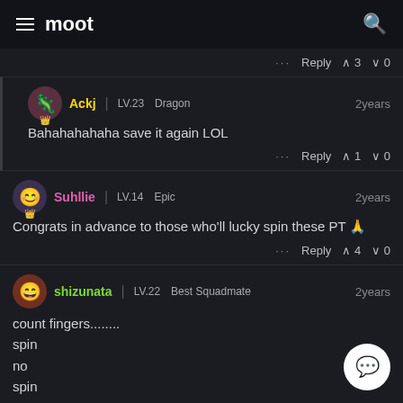moot
... Reply ∧ 3 ∨ 0
Ackj | LV.23 Dragon  2years
Bahahahahaha save it again LOL
... Reply ∧ 1 ∨ 0
Suhllie | LV.14 Epic  2years
Congrats in advance to those who'll lucky spin these PT 🙏
... Reply ∧ 4 ∨ 0
shizunata | LV.22 Best Squadmate  2years
count fingers........
spin
no
spin
no